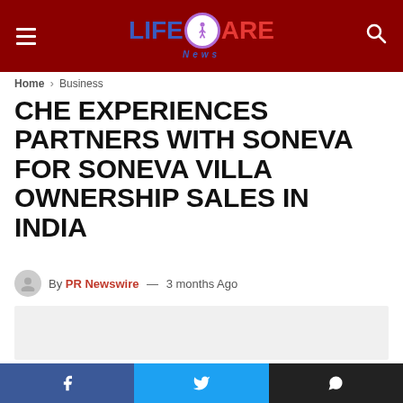LifeCare News
Home > Business
CHE EXPERIENCES PARTNERS WITH SONEVA FOR SONEVA VILLA OWNERSHIP SALES IN INDIA
By PR Newswire — 3 months Ago
[Figure (other): Advertisement/image placeholder, light grey rectangle]
[Figure (other): Social share buttons: Facebook, Twitter, WhatsApp]